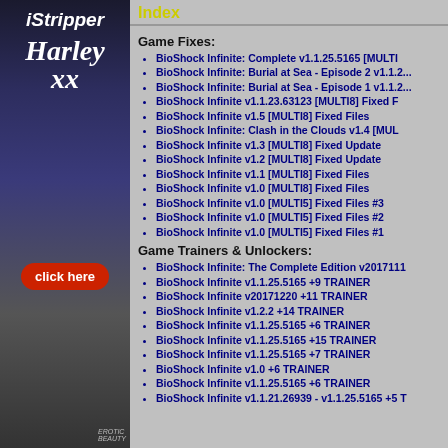[Figure (advertisement): iStripper advertisement featuring Harley XX character with click here button]
Index
Game Fixes:
BioShock Infinite: Complete v1.1.25.5165 [MULTI...
BioShock Infinite: Burial at Sea - Episode 2 v1.1.2...
BioShock Infinite: Burial at Sea - Episode 1 v1.1.2...
BioShock Infinite v1.1.23.63123 [MULTI8] Fixed F...
BioShock Infinite v1.5 [MULTI8] Fixed Files
BioShock Infinite: Clash in the Clouds v1.4 [MUL...
BioShock Infinite v1.3 [MULTI8] Fixed Update
BioShock Infinite v1.2 [MULTI8] Fixed Update
BioShock Infinite v1.1 [MULTI8] Fixed Files
BioShock Infinite v1.0 [MULTI8] Fixed Files
BioShock Infinite v1.0 [MULTI5] Fixed Files #3
BioShock Infinite v1.0 [MULTI5] Fixed Files #2
BioShock Infinite v1.0 [MULTI5] Fixed Files #1
Game Trainers & Unlockers:
BioShock Infinite: The Complete Edition v2017111...
BioShock Infinite v1.1.25.5165 +9 TRAINER
BioShock Infinite v20171220 +11 TRAINER
BioShock Infinite v1.2.2 +14 TRAINER
BioShock Infinite v1.1.25.5165 +6 TRAINER
BioShock Infinite v1.1.25.5165 +15 TRAINER
BioShock Infinite v1.1.25.5165 +7 TRAINER
BioShock Infinite v1.0 +6 TRAINER
BioShock Infinite v1.1.25.5165 +6 TRAINER
BioShock Infinite v1.1.21.26939 - v1.1.25.5165 +5 T...